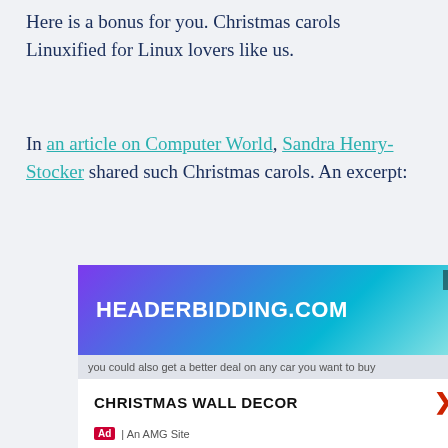Here is a bonus for you. Christmas carols Linuxified for Linux lovers like us.
In an article on Computer World, Sandra Henry-Stocker shared such Christmas carols. An excerpt:
[Figure (screenshot): Advertisement banner for HEADERBIDDING.COM with purple-to-teal gradient, close X button, followed by a white section with 'CHRISTMAS WALL DECOR' text and a red arrow, Ad badge and 'An AMG Site' label.]